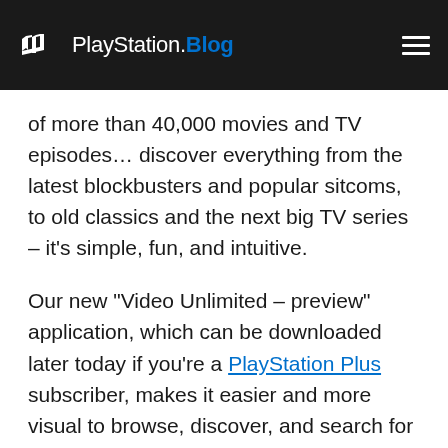PlayStation.Blog
of more than 40,000 movies and TV episodes… discover everything from the latest blockbusters and popular sitcoms, to old classics and the next big TV series – it's simple, fun, and intuitive.
Our new “Video Unlimited – preview” application, which can be downloaded later today if you’re a PlayStation Plus subscriber, makes it easier and more visual to browse, discover, and search for movies and TV shows from your favorite actors, directors, and genres. While mirroring content found on the existing video section of the PlayStation Store, the new preview application gives you a fresh experience by providing endless related